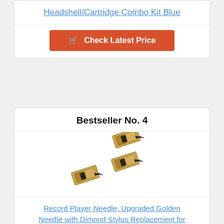Headshell/Cartridge Combo Kit Blue
Check Latest Price
Bestseller No. 4
[Figure (photo): Three gold-colored turntable stylus/needle replacement cartridges arranged in a diagonal cluster on white background]
Record Player Needle, Upgraded Golden Needle with Dimond Stylus Replacement for Turntable, Vinyl...
Check Latest Price